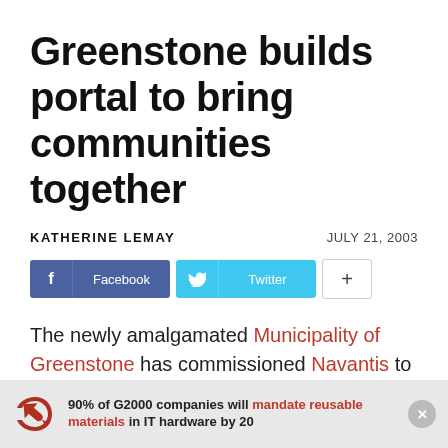Greenstone builds portal to bring communities together
KATHERINE LEMAY    JULY 21, 2003
[Figure (other): Social sharing buttons: Facebook, Twitter, and a plus button]
The newly amalgamated Municipality of Greenstone has commissioned Navantis to design a community portal to bring together its disparate townships and connect it to the rest
90% of G2000 companies will mandate reusable materials in IT hardware by 2025